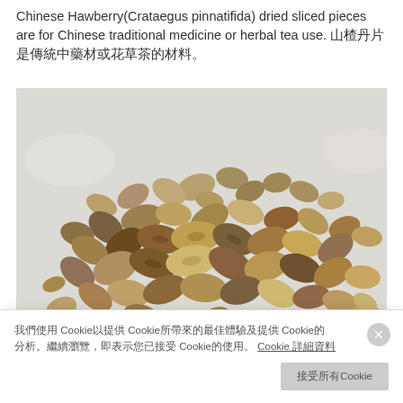Chinese Hawberry(Crataegus pinnatifida) dried sliced pieces are for Chinese traditional medicine or herbal tea use. 山楂乾片是傳統中藥材或花草茶的材料。
[Figure (photo): Photo of dried sliced Chinese Hawberry (Crataegus pinnatifida) seeds/pieces piled on a white background. The pieces are brown, oval-shaped, seed-like dried fruit pieces.]
我們使用 Cookie以提供 Cookie所帶來的最佳體驗及提供 Cookie的分析。繼續瀏覽，即表示您已接受 Cookie的使用。 Cookie 詳細資料